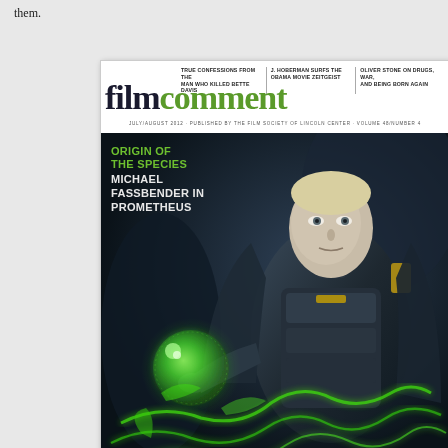them.
[Figure (photo): Magazine cover of Film Comment, July/August 2012, Volume 48/Number 4. Features Michael Fassbender as the android David from the film Prometheus. He is shown in sci-fi armor holding a glowing green orb with green energy swirling below. Cover text reads: TRUE CONFESSIONS FROM THE MAN WHO KILLED BETTE DAVIS | J. HOBERMAN SURFS THE OBAMA MOVIE ZEITGEIST | OLIVER STONE ON DRUGS, WAR, AND BEING BORN AGAIN. Logo reads 'film' in dark serif and 'comment' in green serif. Cover story: ORIGIN OF THE SPECIES / MICHAEL FASSBENDER IN PROMETHEUS.]